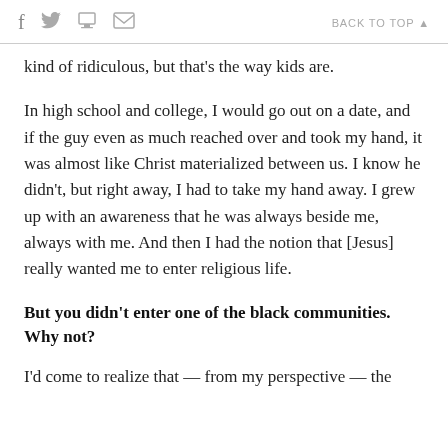f  ✦  ✉  BACK TO TOP ▲
kind of ridiculous, but that's the way kids are.
In high school and college, I would go out on a date, and if the guy even as much reached over and took my hand, it was almost like Christ materialized between us. I know he didn't, but right away, I had to take my hand away. I grew up with an awareness that he was always beside me, always with me. And then I had the notion that [Jesus] really wanted me to enter religious life.
But you didn't enter one of the black communities. Why not?
I'd come to realize that — from my perspective — the